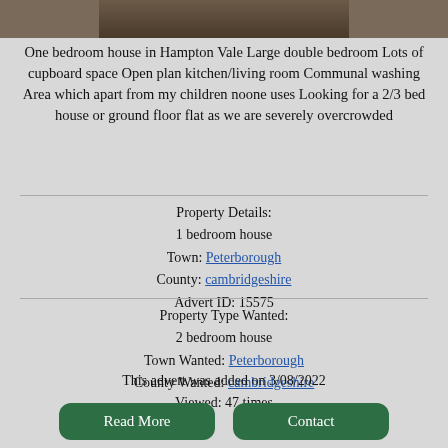[Figure (photo): Partial photo of a property entrance/doormat area, cropped at top of page]
One bedroom house in Hampton Vale Large double bedroom Lots of cupboard space Open plan kitchen/living room Communal washing Area which apart from my children noone uses Looking for a 2/3 bed house or ground floor flat as we are severely overcrowded
Property Details:
1 bedroom house
Town: Peterborough
County: cambridgeshire
Advert ID: 15575
Property Type Wanted:
2 bedroom house
Town Wanted: Peterborough
County Wanted: cambridgeshire
This advert was added on 3/08/2022
Viewed: 47 times